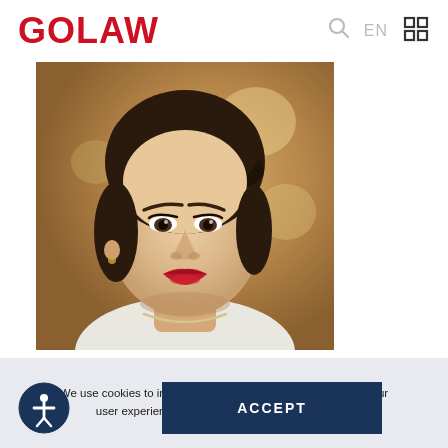GOLAW  🔍 EN ⊞
[Figure (photo): Professional headshot of a young woman with dark hair pulled back, red lipstick, wearing a white top and pearl necklace, photographed against a warm blurred background.]
We use cookies to improve performance of our website and your user experience. Cookies policy   Cookies settings
ACCEPT